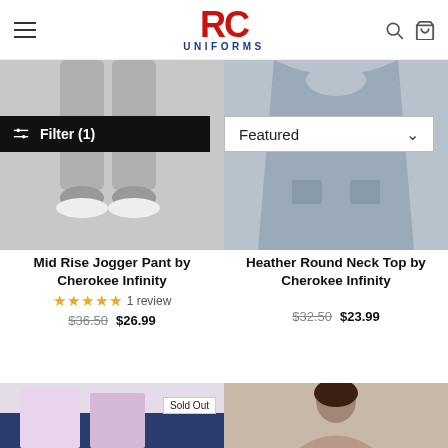RC Uniforms
Filter (1)
Featured
[Figure (photo): Mid Rise Jogger Pant by Cherokee Infinity - grey jogger pants on model]
Mid Rise Jogger Pant by Cherokee Infinity
★★★★★ 1 review
$36.50  $26.99
[Figure (photo): Heather Round Neck Top by Cherokee Infinity - grey scrub top on model]
Heather Round Neck Top by Cherokee Infinity
$32.50  $23.99
[Figure (photo): Partial view of product - pink/lavender item with Sold Out badge]
[Figure (photo): Partial view of product - woman with dark hair]